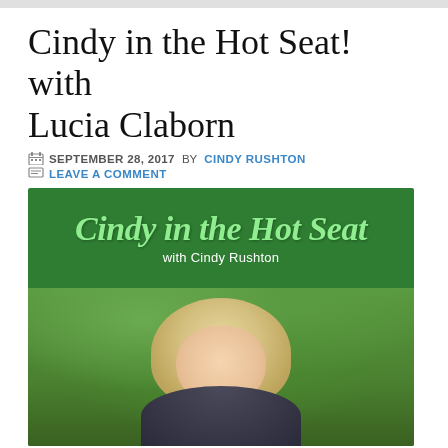Cindy in the Hot Seat! with Lucia Claborn
SEPTEMBER 28, 2017 BY CINDY RUSHTON
LEAVE A COMMENT
[Figure (photo): Promotional image for 'Cindy in the Hot Seat with Cindy Rushton' podcast/show. Green banner at top with italic script text 'Cindy in the Hot Seat' and subtitle 'with Cindy Rushton', below which is a photo of a smiling blonde woman with long white/blonde hair outdoors on green grass.]